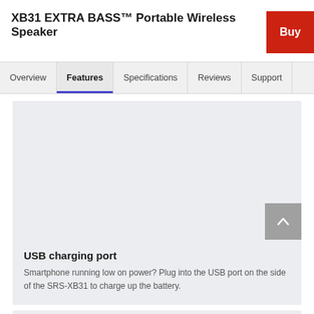XB31 EXTRA BASS™ Portable Wireless Speaker
Buy
Overview | Features | Specifications | Reviews | Support
[Figure (illustration): Light grey rectangular content area representing a product feature image placeholder]
USB charging port
Smartphone running low on power? Plug into the USB port on the side of the SRS-XB31 to charge up the battery.